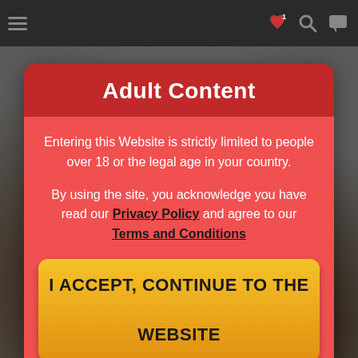Adult Content
Entering this Website is strictly limited to people over 18 or the legal age in your country.
By using the site, you acknowledge you have read our Privacy Policy and agree to our Terms and Conditions
I ACCEPT, CONTINUE TO THE WEBSITE